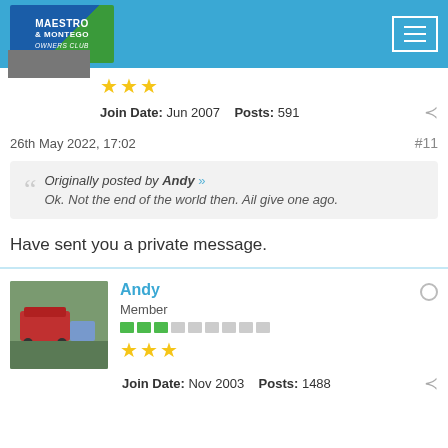Maestro & Montego Owners Club
★★★
Join Date: Jun 2007   Posts: 591
26th May 2022, 17:02   #11
Originally posted by Andy » Ok. Not the end of the world then. Ail give one ago.
Have sent you a private message.
Andy
Member
Join Date: Nov 2003   Posts: 1488